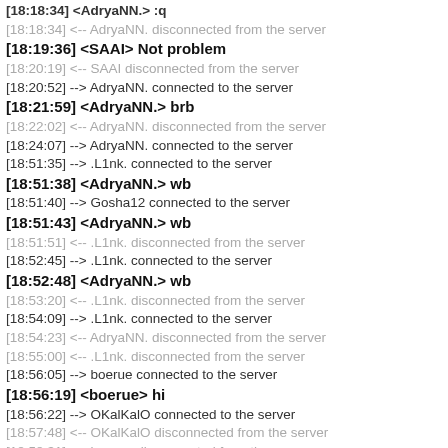[18:18:34] <AdryaNN.> :q
[18:18:34] <-- AdryaNN. disconnected from the server
[18:19:36] <SAAI> Not problem
[18:20:19] <-- SAAI disconnected from the server
[18:20:52] --> AdryaNN. connected to the server
[18:21:59] <AdryaNN.> brb
[18:22:02] <-- AdryaNN. disconnected from the server
[18:24:07] --> AdryaNN. connected to the server
[18:51:35] --> .L1nk. connected to the server
[18:51:38] <AdryaNN.> wb
[18:51:40] --> Gosha12 connected to the server
[18:51:43] <AdryaNN.> wb
[18:51:51] <-- .L1nk. disconnected from the server
[18:52:45] --> .L1nk. connected to the server
[18:52:48] <AdryaNN.> wb
[18:53:20] <-- .L1nk. disconnected from the server
[18:54:09] --> .L1nk. connected to the server
[18:54:23] <-- AdryaNN. disconnected from the server
[18:55:00] <-- .L1nk. disconnected from the server
[18:56:05] --> boerue connected to the server
[18:56:19] <boerue> hi
[18:56:22] --> OKalKalO connected to the server
[18:57:48] <-- OKalKalO disconnected from the server
[18:58:31] <-- boerue disconnected from the server
[18:58:42] --> AdryaNN. connected to the server
[18:59:01] --> boerue connected to the server